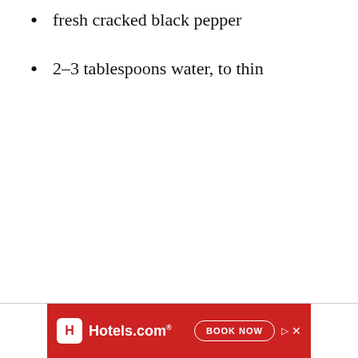fresh cracked black pepper
2–3 tablespoons water, to thin